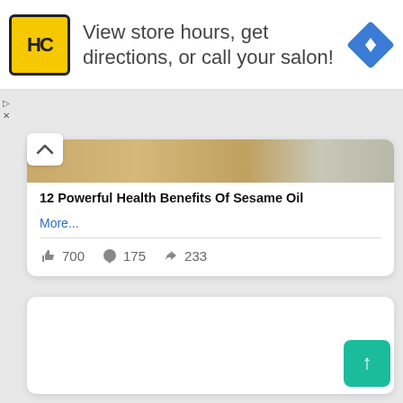[Figure (screenshot): Ad banner with HC logo (yellow square with black HC text), text 'View store hours, get directions, or call your salon!', and a blue diamond navigation icon on the right.]
12 Powerful Health Benefits Of Sesame Oil
More...
700  175  233